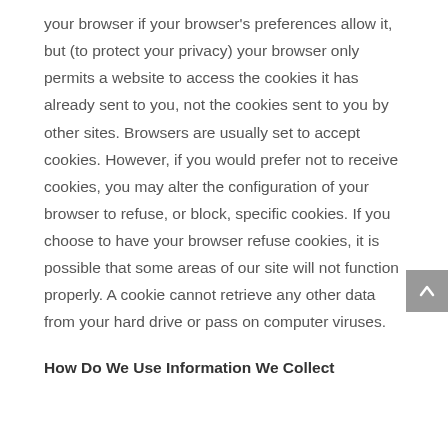your browser if your browser's preferences allow it, but (to protect your privacy) your browser only permits a website to access the cookies it has already sent to you, not the cookies sent to you by other sites. Browsers are usually set to accept cookies. However, if you would prefer not to receive cookies, you may alter the configuration of your browser to refuse, or block, specific cookies. If you choose to have your browser refuse cookies, it is possible that some areas of our site will not function properly. A cookie cannot retrieve any other data from your hard drive or pass on computer viruses.
How Do We Use Information We Collect